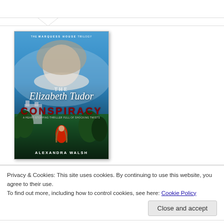[Figure (illustration): Book cover for 'The Elizabeth Tudor Conspiracy' by Alexandra Walsh, part of The Marquess House Trilogy. Shows a portrait of Elizabeth I with a woman in red dress and castle/landscape in background.]
Privacy & Cookies: This site uses cookies. By continuing to use this website, you agree to their use.
To find out more, including how to control cookies, see here: Cookie Policy
Close and accept
will take control after Elizabeth's death is a hotly-